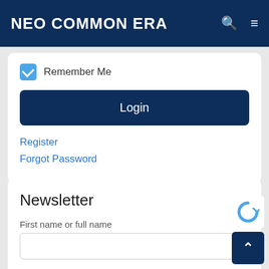NEO COMMON ERA
Remember Me
Login
Register
Forgot Password
Newsletter
First name or full name
Email